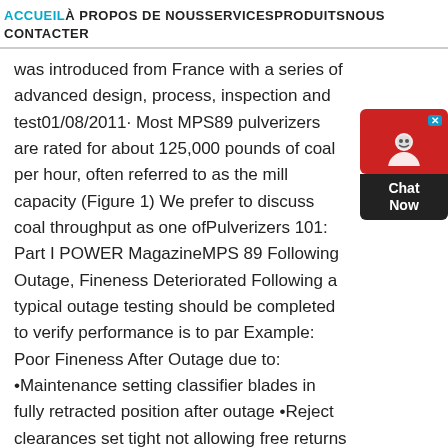ACCUEIL À PROPOS DE NOUS SERVICES PRODUITS NOUS CONTACTER
was introduced from France with a series of advanced design, process, inspection and test01/08/2011· Most MPS89 pulverizers are rated for about 125,000 pounds of coal per hour, often referred to as the mill capacity (Figure 1) We prefer to discuss coal throughput as one ofPulverizers 101: Part I POWER MagazineMPS 89 Following Outage, Fineness Deteriorated Following a typical outage testing should be completed to verify performance is to par Example: Poor Fineness After Outage due to: •Maintenance setting classifier blades in fully retracted position after outage •Reject clearances set tight not allowing free returns of coarse particles •High airtofuel ratio due to PA flow indicationPerformance Driven Maintenance of Coal Pulverizers